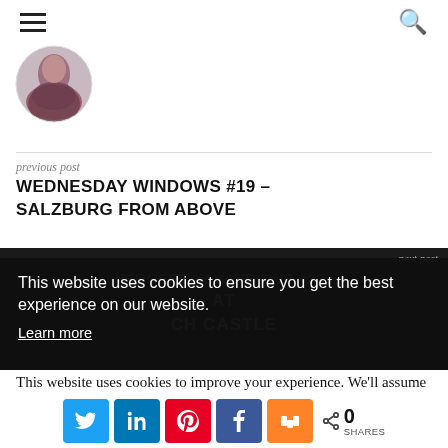Navigation bar with hamburger menu and search icon
[Figure (photo): Circular author avatar photo showing a person in a dark scarf/winter clothing, partially cropped at top]
previous post
WEDNESDAY WINDOWS #19 – SALZBURG FROM ABOVE
[Figure (screenshot): Dark background overlay area showing next post label and partial title text: WEDNESDAY WINDOWS #20 – [AT] [CH CASTLE], with cookie consent banner overlay]
This website uses cookies to ensure you get the best experience on our website.
Learn more
This website uses cookies to improve your experience. We'll assume you're ok with this, but you can opt-out if you wish.
[Figure (infographic): Social share buttons: Twitter (blue), LinkedIn (dark blue), Pinterest (red), Facebook (blue), Mix/StumbleUpon (orange), share icon with count 0 SHARES]